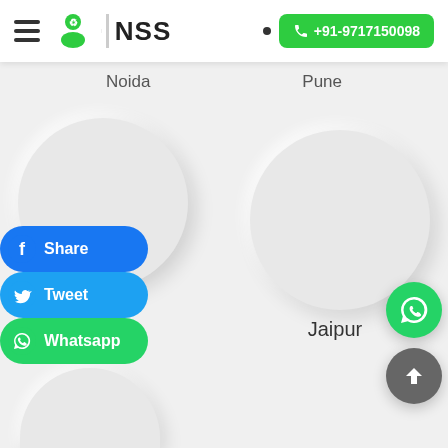NSS | +91-9717150098
Noida   Pune
[Figure (illustration): City circle for Indore]
Indore
[Figure (illustration): City circle for Jaipur]
Jaipur
[Figure (illustration): Share button - Facebook]
[Figure (illustration): Tweet button - Twitter]
[Figure (illustration): Whatsapp share button]
[Figure (illustration): WhatsApp floating contact button]
[Figure (illustration): Scroll to top button]